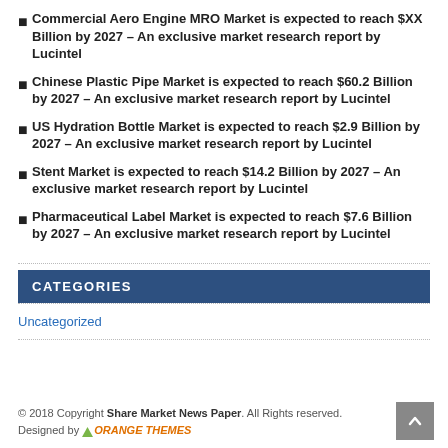Commercial Aero Engine MRO Market is expected to reach $XX Billion by 2027 – An exclusive market research report by Lucintel
Chinese Plastic Pipe Market is expected to reach $60.2 Billion by 2027 – An exclusive market research report by Lucintel
US Hydration Bottle Market is expected to reach $2.9 Billion by 2027 – An exclusive market research report by Lucintel
Stent Market is expected to reach $14.2 Billion by 2027 – An exclusive market research report by Lucintel
Pharmaceutical Label Market is expected to reach $7.6 Billion by 2027 – An exclusive market research report by Lucintel
CATEGORIES
Uncategorized
© 2018 Copyright Share Market News Paper. All Rights reserved. Designed by ORANGE THEMES